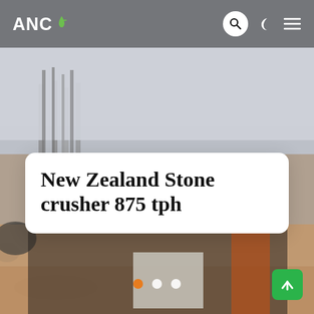[Figure (photo): Construction site with workers standing in front of a stone crusher machine on a sandy ground. Several workers of varied dress are visible. Background shows concrete columns under construction and overcast sky.]
ANC  [search icon] [moon icon] [menu icon]
New Zealand Stone crusher 875 tph
Slide dots: active, inactive, inactive